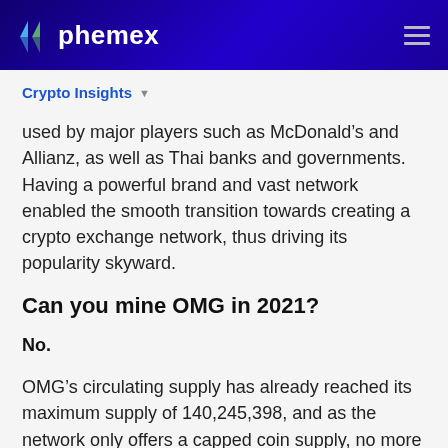phemex
Crypto Insights
used by major players such as McDonald’s and Allianz, as well as Thai banks and governments. Having a powerful brand and vast network enabled the smooth transition towards creating a crypto exchange network, thus driving its popularity skyward.
Can you mine OMG in 2021?
No.
OMG’s circulating supply has already reached its maximum supply of 140,245,398, and as the network only offers a capped coin supply, no more OMG